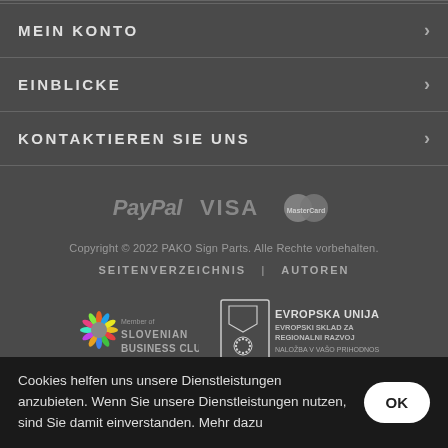MEIN KONTO
EINBLICKE
KONTAKTIEREN SIE UNS
[Figure (logo): Payment logos: PayPal, VISA, MasterCard in grey]
Copyright © 2022 PAKO Sign Parts. Alle Rechte vorbehalten.
SEITENVERZEICHNIS | AUTOREN
[Figure (logo): Member of Slovenian Business Club logo (sunflower icon) and Evropska Unija / Evropski Sklad za Regionalni Razvoj logo]
Cookies helfen uns unsere Dienstleistungen anzubieten. Wenn Sie unsere Dienstleistungen nutzen, sind Sie damit einverstanden. Mehr dazu